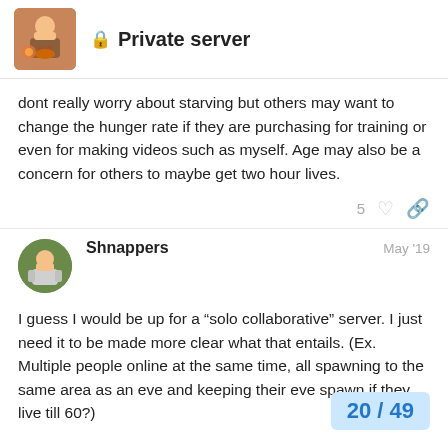Private server
dont really worry about starving but others may want to change the hunger rate if they are purchasing for training or even for making videos such as myself. Age may also be a concern for others to maybe get two hour lives.
Shnappers  May '19
I guess I would be up for a “solo collaborative” server. I just need it to be made more clear what that entails. (Ex. Multiple people online at the same time, all spawning to the same area as an eve and keeping their eve spawn if they live till 60?)
I doubt now that I think of it, if we can get definitive numbers as far as cost goes but joint ownership would be cool. If someones opts out of it in the future if joint ownership would split amongst other owners.
20 / 49